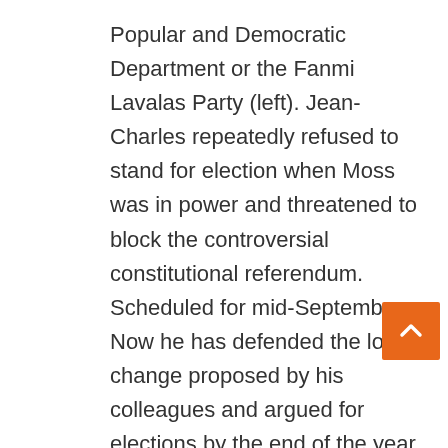Popular and Democratic Department or the Fanmi Lavalas Party (left). Jean-Charles repeatedly refused to stand for election when Moss was in power and threatened to block the controversial constitutional referendum. Scheduled for mid-September. Now he has defended the long change proposed by his colleagues and argued for elections by the end of the year to put the country on the path of development. His new position reveals rifts in the opposition in recent years that have failed to form a common front against the government, and three weeks after the assassination they have not reached an agreement on how to run the country. The MP asked the new cabinet, led by neurosurgeon Ariel Henry, to reform the electoral system, review the